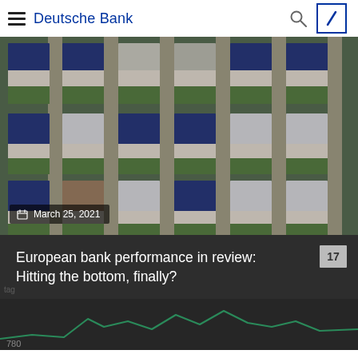Deutsche Bank
[Figure (photo): Aerial view of suburban houses with blue roofs, shot from above showing rows of similar homes with lawns and driveways.]
March 25, 2021
European bank performance in review: Hitting the bottom, finally?
[Figure (line-chart): Partial line chart visible at bottom of card section showing a green line with value around 780, on dark background.]